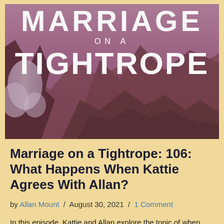[Figure (illustration): Book cover or podcast artwork for 'Marriage on a Tightrope' — large text over a dramatic rocky mountain landscape with purple/mauve toning. Text reads 'MARRIAGE ON A TIGHTROPE' with water/rock imagery in the foreground.]
Marriage on a Tightrope: 106: What Happens When Kattie Agrees With Allan?
by Allan Mount / August 30, 2021 / 1 Comment
In this episode, Kattie and Allan explore the topic of when spouses agree on certain church related topics.  It may not be